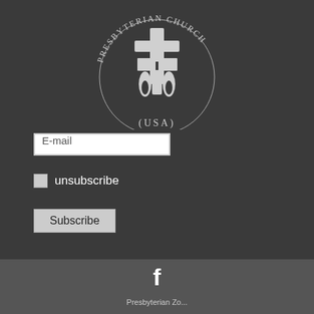[Figure (logo): Presbyterian Church (USA) logo — circular text reading PRESBYTERIAN CHURCH around a stylized cross/flame emblem, with (USA) below]
E-mail
unsubscribe
Subscribe
[Figure (logo): Facebook 'f' icon in white]
Presbyterian Zo...